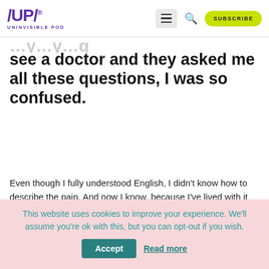/UP/ UNINVISIBLE POD — navigation bar with hamburger menu, search icon, and SUBSCRIBE button
see a doctor and they asked me all these questions, I was so confused.
Even though I fully understood English, I didn't know how to describe the pain. And now I know, because I've lived with it for 13 years, so I'm very well able to explain what kind of a pain it is. But if I had trouble explaining that, or pinpointing what
This website uses cookies to improve your experience. We'll assume you're ok with this, but you can opt-out if you wish. Accept Read more